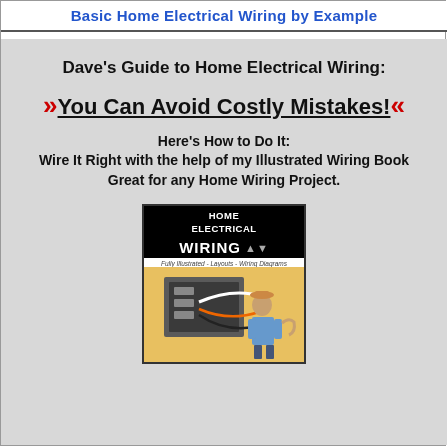Basic Home Electrical Wiring by Example
Dave's Guide to Home Electrical Wiring:
» You Can Avoid Costly Mistakes! «
Here's How to Do It:
Wire It Right with the help of my Illustrated Wiring Book
Great for any Home Wiring Project.
[Figure (photo): Book cover for 'Home Electrical Wiring' showing a fully illustrated guide with layouts and wiring diagrams, featuring a person holding electrical cables]